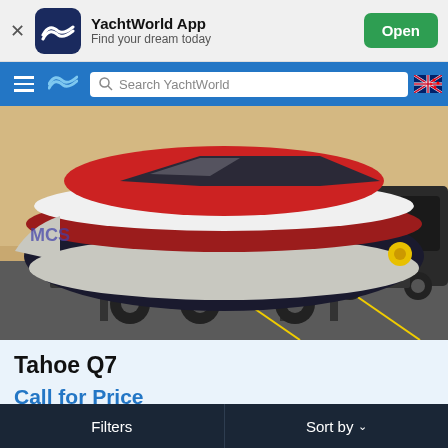[Figure (screenshot): YachtWorld App banner with dark blue logo icon showing wave symbol, app name and tagline, and green Open button]
[Figure (screenshot): YachtWorld navigation bar with hamburger menu, wave logo, search bar reading 'Search YachtWorld', and Australian/New Zealand flag icon]
[Figure (photo): Tahoe Q7 speedboat with red and white hull on a trailer in a parking lot, with a Jeep visible in the background]
Tahoe Q7
Call for Price
Filters
Sort by